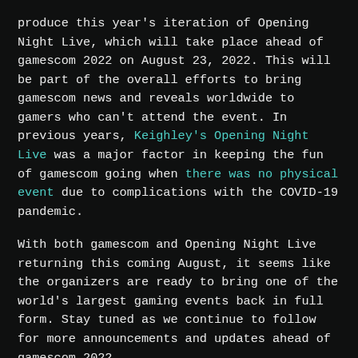produce this year's iteration of Opening Night Live, which will take place ahead of gamescom 2022 on August 23, 2022. This will be part of the overall efforts to bring gamescom news and reveals worldwide to gamers who can't attend the event. In previous years, Keighley's Opening Night Live was a major factor in keeping the fun of gamescom going when there was no physical event due to complications with the COVID-19 pandemic.
With both gamescom and Opening Night Live returning this coming August, it seems like the organizers are ready to bring one of the world's largest gaming events back in full form. Stay tuned as we continue to follow for more announcements and updates ahead of gamescom 2022.